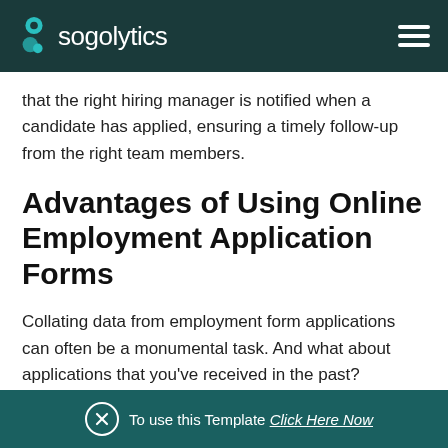sogolytics
that the right hiring manager is notified when a candidate has applied, ensuring a timely follow-up from the right team members.
Advantages of Using Online Employment Application Forms
Collating data from employment form applications can often be a monumental task. And what about applications that you've received in the past? Physical
To use this Template Click Here Now